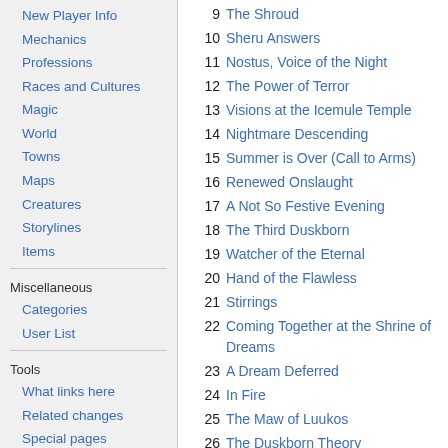New Player Info
Mechanics
Professions
Races and Cultures
Magic
World
Towns
Maps
Creatures
Storylines
Items
Miscellaneous
Categories
User List
Tools
What links here
Related changes
Special pages
Printable version
Permanent link
Page information
Browse properties
9  The Shroud
10  Sheru Answers
11  Nostus, Voice of the Night
12  The Power of Terror
13  Visions at the Icemule Temple
14  Nightmare Descending
15  Summer is Over (Call to Arms)
16  Renewed Onslaught
17  A Not So Festive Evening
18  The Third Duskborn
19  Watcher of the Eternal
20  Hand of the Flawless
21  Stirrings
22  Coming Together at the Shrine of Dreams
23  A Dream Deferred
24  In Fire
25  The Maw of Luukos
26  The Duskborn Theory
27  Magister O' Magister - Where are